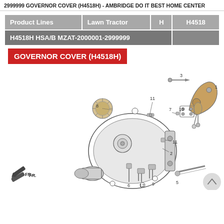2999999 GOVERNOR COVER (H4518H) - AMBRIDGE DO IT BEST HOME CENTER
| Product Lines | Lawn Tractor | H | H4518 |
| --- | --- | --- | --- |
| H4518H HSA/B MZAT-2000001-2999999 |  |  |  |
GOVERNOR COVER (H4518H)
[Figure (engineering-diagram): Exploded parts diagram of Governor Cover (H4518H) for Honda H4518 Lawn Tractor. Parts are numbered 1-12. Shows the governor cover assembly with numbered callouts: 1 (governor assembly upper right), 2 (body lower right), 3 (top right bolt/stud), 4 (bracket right), 5 (long bolt lower right), 6 (bolt lower left), 7 (small part right center), 8 (cap/knob left), 9 (bolt lower center), 10 (small part right center), 11 (appears twice - bolt upper center and bolt right mid), 12 (bolt lower center-left). FR arrow indicator at lower left.]